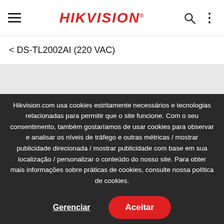HIKVISION
< DS-TL2002AI (220 VAC)
Hikvision.com usa cookies estritamente necessários e tecnologias relacionadas para permitir que o site funcione. Com o seu consentimento, também gostaríamos de usar cookies para observar e analisar os níveis de tráfego e outras métricas / mostrar publicidade direcionada / mostrar publicidade com base em sua localização / personalizar o conteúdo do nosso site. Para obter mais informações sobre práticas de cookies, consulte nossa política de cookies.
Gerenciar
Aceitar